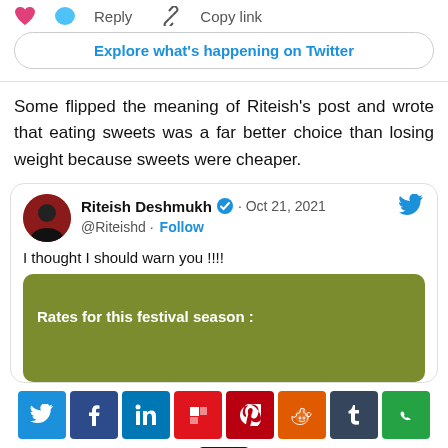[Figure (screenshot): Twitter post interaction bar with heart icon, Reply button, and Copy link button, followed by an Explore what's happening on Twitter button]
Some flipped the meaning of Riteish's post and wrote that eating sweets was a far better choice than losing weight because sweets were cheaper.
[Figure (screenshot): Embedded tweet by Riteish Deshmukh (@Riteishd), verified, dated Oct 21, 2021, with text 'I thought I should warn you !!!!' and a green image showing 'Rates for this festival season :']
[Figure (screenshot): Social media sharing bar with icons for Twitter, Facebook, LinkedIn, Flipboard, Pinterest, Reddit, Tumblr, WhatsApp, and a share button]